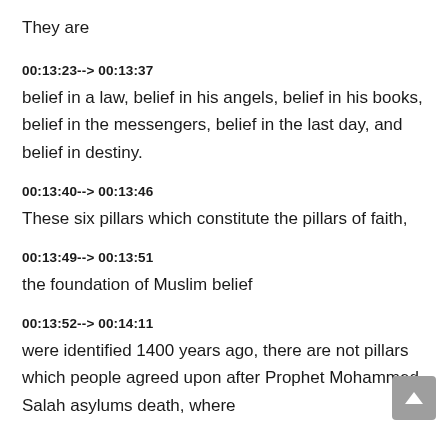They are
00:13:23--> 00:13:37
belief in a law, belief in his angels, belief in his books, belief in the messengers, belief in the last day, and belief in destiny.
00:13:40--> 00:13:46
These six pillars which constitute the pillars of faith,
00:13:49--> 00:13:51
the foundation of Muslim belief
00:13:52--> 00:14:11
were identified 1400 years ago, there are not pillars which people agreed upon after Prophet Mohammed Salah asylums death, where